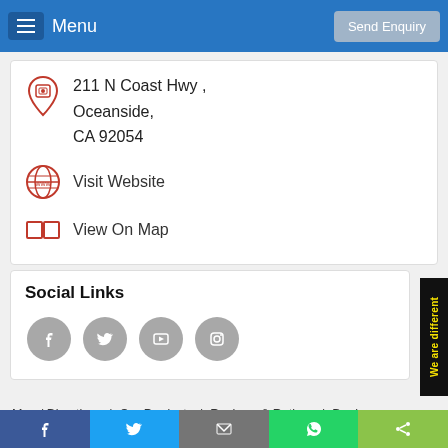Menu | Send Enquiry
211 N Coast Hwy , Oceanside, CA 92054
Visit Website
View On Map
Social Links
[Figure (infographic): Four social media circle icons: Facebook, Twitter, YouTube, Instagram]
Map / Directions | Our Products | Reviews & Ratings | Deals  Offers | Job Openings | Photo Gallery | Contact us | Sitema…
[Figure (infographic): Bottom share bar with Facebook, Twitter, Email, WhatsApp, and Share icons]